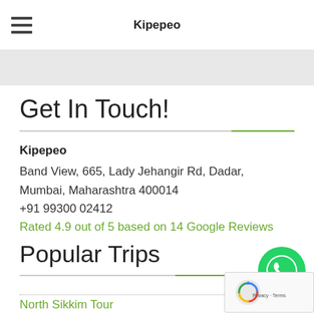Kipepeo
Get In Touch!
Kipepeo
Band View, 665, Lady Jehangir Rd, Dadar,
Mumbai, Maharashtra 400014
+91 99300 02412
Rated 4.9 out of 5 based on 14 Google Reviews
Popular Trips
North Sikkim Tour